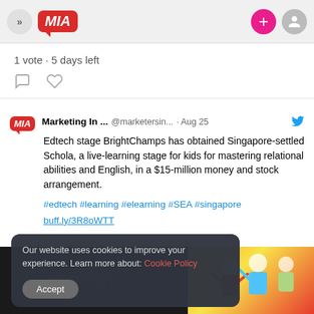MIA - Marketing In Asia
1 vote · 5 days left
Marketing In ... @marketersin... · Aug 25
Edtech stage BrightChamps has obtained Singapore-settled Schola, a live-learning stage for kids for mastering relational abilities and English, in a $15-million money and stock arrangement.
#edtech #learning #elearning #SEA #singapore
buff.ly/3R8oWTT
[Figure (photo): Children with raised arms, colorful background]
Our website uses cookies to improve your experience. Learn more about: Cookie Policy
Accept